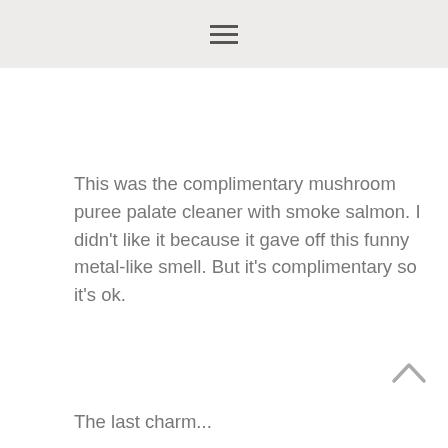≡
This was the complimentary mushroom puree palate cleaner with smoke salmon. I didn't like it because it gave off this funny metal-like smell. But it's complimentary so it's ok.
The last charm...